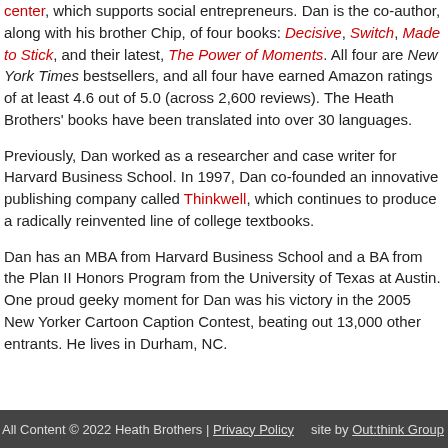center, which supports social entrepreneurs. Dan is the co-author, along with his brother Chip, of four books: Decisive, Switch, Made to Stick, and their latest, The Power of Moments. All four are New York Times bestsellers, and all four have earned Amazon ratings of at least 4.6 out of 5.0 (across 2,600 reviews). The Heath Brothers' books have been translated into over 30 languages.
Previously, Dan worked as a researcher and case writer for Harvard Business School. In 1997, Dan co-founded an innovative publishing company called Thinkwell, which continues to produce a radically reinvented line of college textbooks.
Dan has an MBA from Harvard Business School and a BA from the Plan II Honors Program from the University of Texas at Austin. One proud geeky moment for Dan was his victory in the 2005 New Yorker Cartoon Caption Contest, beating out 13,000 other entrants. He lives in Durham, NC.
All Content © 2022 Heath Brothers | Privacy Policy    site by Out:think Group